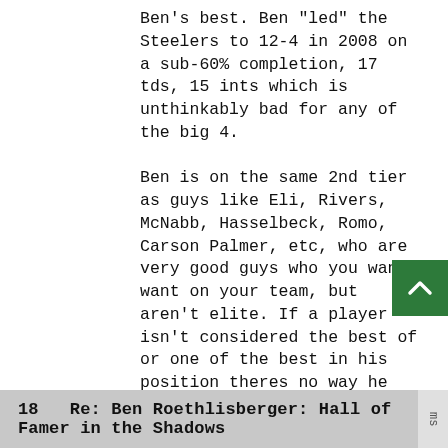Ben's best. Ben "led" the Steelers to 12-4 in 2008 on a sub-60% completion, 17 tds, 15 ints which is unthinkably bad for any of the big 4.

Ben is on the same 2nd tier as guys like Eli, Rivers, McNabb, Hasselbeck, Romo, Carson Palmer, etc, who are very good guys who you want want on your team, but aren't elite. If a player isn't considered the best of or one of the best in his position theres no way he should get into the HOF. Its called the Hall of Fame, not the Hall of Pretty Good. The only real reason Ben would even get consideration is because of RANGS, not stats, in which case you might as well put Eli in the HOF.
18   Re: Ben Roethlisberger: Hall of Famer in the Shadows